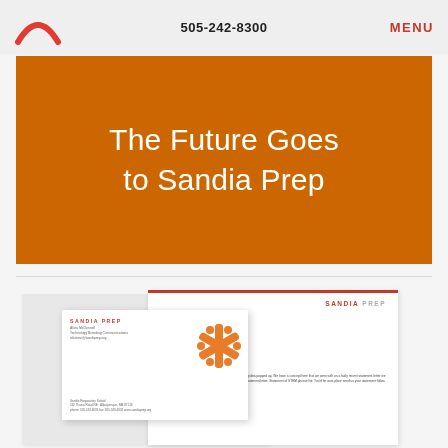505-242-8300   MENU
The Future Goes to Sandia Prep
[Figure (screenshot): Sandia Prep school branding materials including a business card and letterhead. Business card shows 'SANDIA PREP' logo in red text with an orange snowflake/asterisk graphic. Letterhead shows 'SANDIA PREP' header with letter body text.]